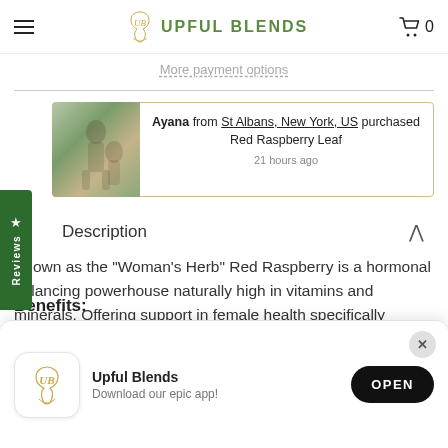UPFUL BLENDS
More payment options
Ayana from St Albans, New York, US purchased Red Raspberry Leaf 21 hours ago
Description
Known as the "Woman's Herb" Red Raspberry is a hormonal balancing powerhouse naturally high in vitamins and minerals. Offering support in female health specifically powerful in magnesium, potassium, iron, calcium, and B vitamins.
Benefits:
Upful Blends - Download our epic app! OPEN